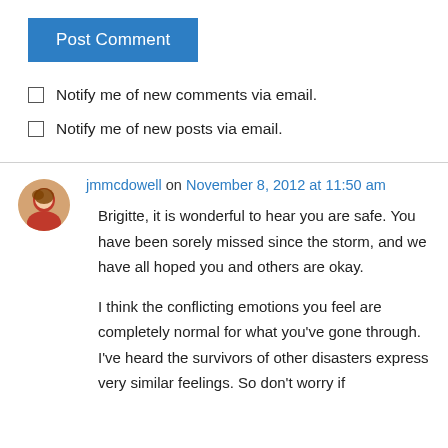Post Comment
Notify me of new comments via email.
Notify me of new posts via email.
jmmcdowell on November 8, 2012 at 11:50 am
Brigitte, it is wonderful to hear you are safe. You have been sorely missed since the storm, and we have all hoped you and others are okay.
I think the conflicting emotions you feel are completely normal for what you've gone through. I've heard the survivors of other disasters express very similar feelings. So don't worry if